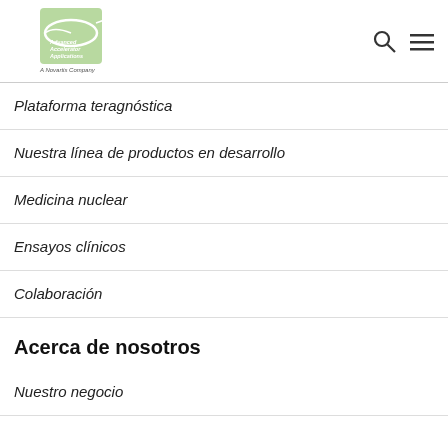[Figure (logo): Advanced Accelerator Applications - A Novartis Company logo with green oval and arrow design]
Plataforma teragnóstica
Nuestra línea de productos en desarrollo
Medicina nuclear
Ensayos clínicos
Colaboración
Acerca de nosotros
Nuestro negocio